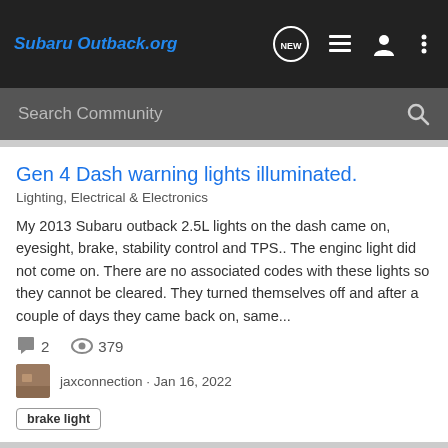SubaruOutback.org
Search Community
Gen 4 Dash warning lights illuminated.
Lighting, Electrical & Electronics
My 2013 Subaru outback 2.5L lights on the dash came on, eyesight, brake, stability control and TPS.. The enginc light did not come on. There are no associated codes with these lights so they cannot be cleared. They turned themselves off and after a couple of days they came back on, same...
2  379
jaxconnection · Jan 16, 2022
brake light
Other: Four warnings, VDC, BRAKE flashing